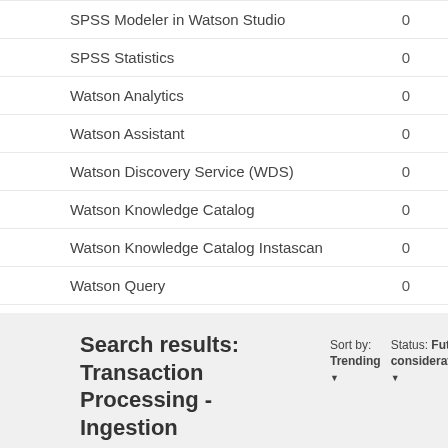SPSS Modeler in Watson Studio	0
SPSS Statistics	0
Watson Analytics	0
Watson Assistant	0
Watson Discovery Service (WDS)	0
Watson Knowledge Catalog	0
Watson Knowledge Catalog Instascan	0
Watson Query	0
Search results: Transaction Processing - Ingestion
Sort by: Trending ▼
Status: Future consideration ▼
Showing 0